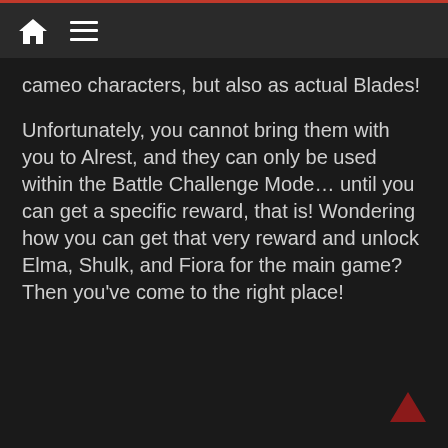cameo characters, but also as actual Blades!
Unfortunately, you cannot bring them with you to Alrest, and they can only be used within the Battle Challenge Mode… until you can get a specific reward, that is! Wondering how you can get that very reward and unlock Elma, Shulk, and Fiora for the main game? Then you've come to the right place!